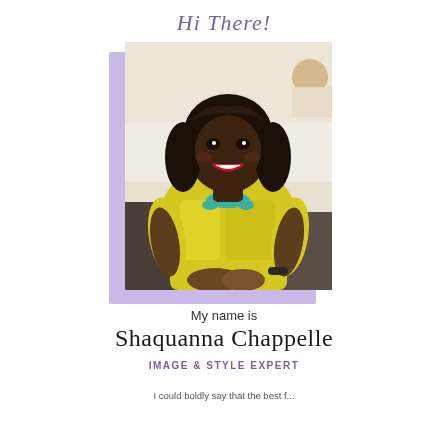Hi There!
[Figure (photo): Portrait photo of Shaquanna Chappelle, a woman wearing a bright yellow dress and turquoise necklace, smiling, seated, with a lavender decorative background block behind the photo.]
My name is
Shaquanna Chappelle
IMAGE & STYLE EXPERT
I could boldly say that the best f...